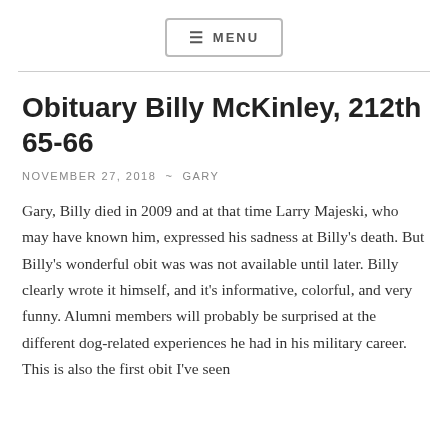≡ MENU
Obituary Billy McKinley, 212th 65-66
NOVEMBER 27, 2018  ~  GARY
Gary, Billy died in 2009 and at that time Larry Majeski, who may have known him, expressed his sadness at Billy's death. But Billy's wonderful obit was was not available until later. Billy clearly wrote it himself, and it's informative, colorful, and very funny. Alumni members will probably be surprised at the different dog-related experiences he had in his military career. This is also the first obit I've seen